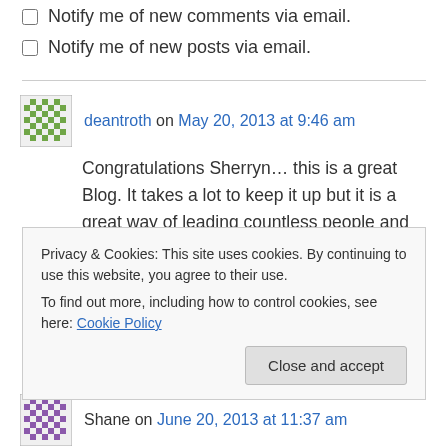Notify me of new comments via email.
Notify me of new posts via email.
deantroth on May 20, 2013 at 9:46 am
Congratulations Sherryn… this is a great Blog. It takes a lot to keep it up but it is a great way of leading countless people and providing resources… I would encourage or dare you to take it global – i.e. remove the restrictions. God
Privacy & Cookies: This site uses cookies. By continuing to use this website, you agree to their use.
To find out more, including how to control cookies, see here: Cookie Policy
Close and accept
Shane on June 20, 2013 at 11:37 am